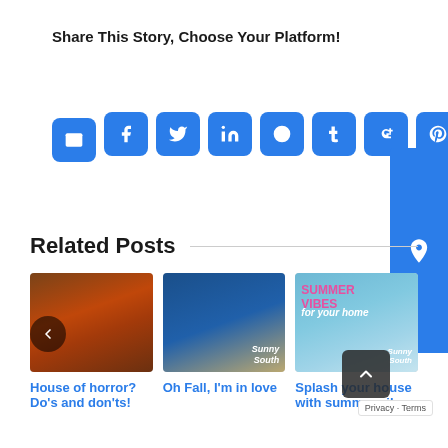Share This Story, Choose Your Platform!
[Figure (infographic): Social media share buttons: Facebook, Twitter, LinkedIn, Reddit, Tumblr, Google+, Pinterest, VK, and Email]
Related Posts
[Figure (photo): Photo of a house front door decorated with fall/Halloween pumpkins and autumn wreath]
House of horror? Do's and don'ts!
[Figure (photo): Photo of a blue door with chair outside - Sunny South]
Oh Fall, I'm in love
[Figure (photo): Summer Vibes for your home graphic - Sunny South]
Splash your house with summer vibes